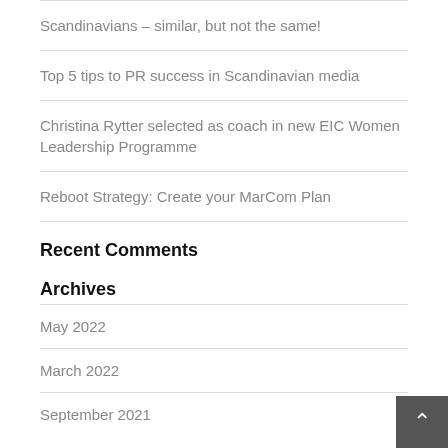Scandinavians – similar, but not the same!
Top 5 tips to PR success in Scandinavian media
Christina Rytter selected as coach in new EIC Women Leadership Programme
Reboot Strategy: Create your MarCom Plan
Recent Comments
Archives
May 2022
March 2022
September 2021